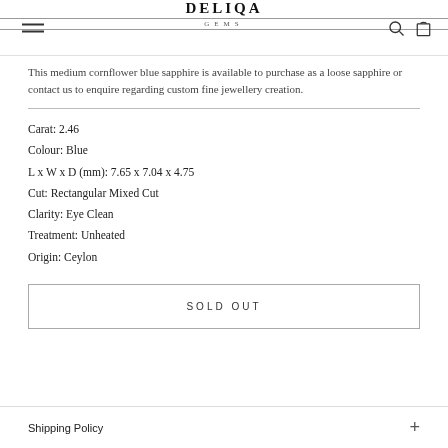DELIQA GEMS
This medium cornflower blue sapphire is available to purchase as a loose sapphire or contact us to enquire regarding custom fine jewellery creation.
Carat: 2.46
Colour: Blue
L x W x D (mm): 7.65 x 7.04 x 4.75
Cut: Rectangular Mixed Cut
Clarity: Eye Clean
Treatment: Unheated
Origin: Ceylon
SOLD OUT
Shipping Policy